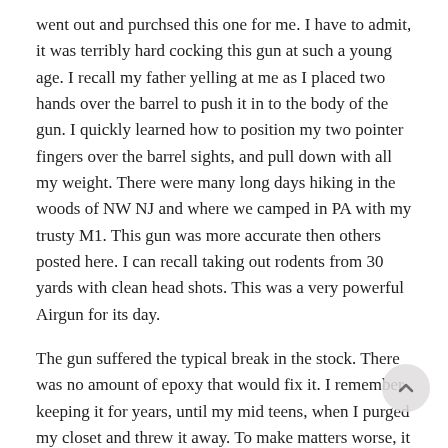went out and purchsed this one for me. I have to admit, it was terribly hard cocking this gun at such a young age. I recall my father yelling at me as I placed two hands over the barrel to push it in to the body of the gun. I quickly learned how to position my two pointer fingers over the barrel sights, and pull down with all my weight. There were many long days hiking in the woods of NW NJ and where we camped in PA with my trusty M1. This gun was more accurate then others posted here. I can recall taking out rodents from 30 yards with clean head shots. This was a very powerful Airgun for its day.
The gun suffered the typical break in the stock. There was no amount of epoxy that would fix it. I remember keeping it for years, until my mid teens, when I purged my closet and threw it away. To make matters worse, it still had the clip bb box (crying now).
Well now Im on a mission to find one. To share the joy I knew with my own sons. There are many air rifles out there, and we